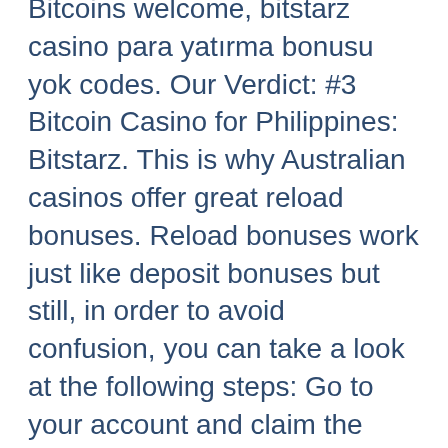Bitcoins welcome, bitstarz casino para yatırma bonusu yok codes. Our Verdict: #3 Bitcoin Casino for Philippines: Bitstarz. This is why Australian casinos offer great reload bonuses. Reload bonuses work just like deposit bonuses but still, in order to avoid confusion, you can take a look at the following steps: Go to your account and claim the welcome bonus, bitstarz casino tips. This site has over and over again proven to be one of the top platforms, bitstarz casino sign up. The reason this site doesn't land a top spot in the list is due to their user-interface, we feel that it's not quite as fine-tuned as the other options and doesn't provide for the best user-experience. This exchange offers a variety of benefits over LocalBitcoin & even Hodlhodl such as cash by mail, no KYC, noJS mode, Tor, and I2P and not even email is needed for registering. The platform is by far one of